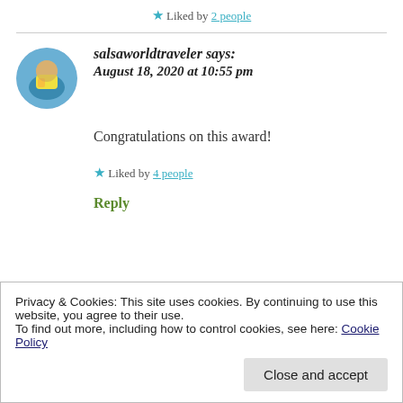★ Liked by 2 people
salsaworldtraveler says:
August 18, 2020 at 10:55 pm
Congratulations on this award!
★ Liked by 4 people
Reply
Privacy & Cookies: This site uses cookies. By continuing to use this website, you agree to their use.
To find out more, including how to control cookies, see here: Cookie Policy
Close and accept